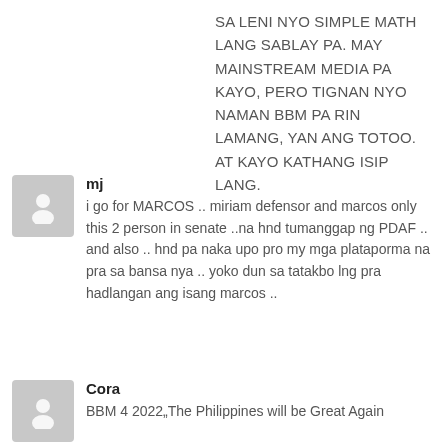SA LENI NYO SIMPLE MATH LANG SABLAY PA. MAY MAINSTREAM MEDIA PA KAYO, PERO TIGNAN NYO NAMAN BBM PA RIN LAMANG, YAN ANG TOTOO. AT KAYO KATHANG ISIP LANG.
[Figure (illustration): User avatar placeholder icon for commenter mj]
mj
i go for MARCOS .. miriam defensor and marcos only this 2 person in senate ..na hnd tumanggap ng PDAF .. and also .. hnd pa naka upo pro my mga plataporma na pra sa bansa nya .. yoko dun sa tatakbo lng pra hadlangan ang isang marcos ..
[Figure (illustration): User avatar placeholder icon for commenter Cora]
Cora
BBM 4 2022„The Philippines will be Great Again